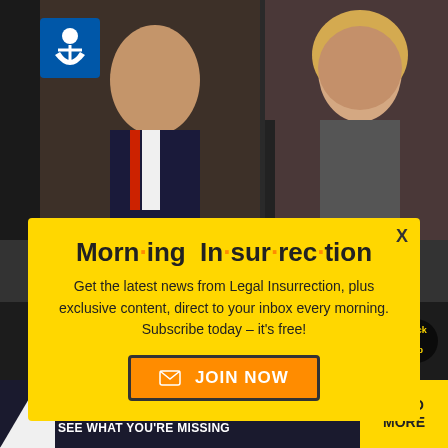[Figure (screenshot): TV news broadcast background with two news anchors — a man in suit with red tie on left, a blonde woman on right, dark blue studio background]
[Figure (screenshot): Modal popup newsletter signup overlay with yellow background titled 'Morning Insurrection' with orange dot letters, body text about Legal Insurrection newsletter, and an orange JOIN NOW button]
Morn·ing In·sur·rec·tion
Get the latest news from Legal Insurrection, plus exclusive content, direct to your inbox every morning. Subscribe today – it's free!
[Figure (screenshot): Bottom video strip with X close button and 'Back to Top' circular button, plus an advertisement banner for 'The Perspective' with teal/dark background and yellow READ MORE section]